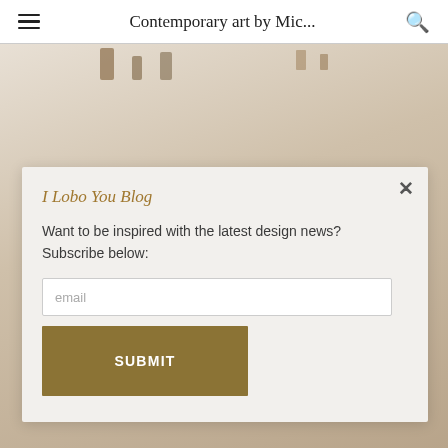Contemporary art by Mic...
[Figure (screenshot): Blurred background photo of a room interior with warm beige tones and decorative objects on a shelf]
I Lobo You Blog
Want to be inspired with the latest design news? Subscribe below:
email
SUBMIT